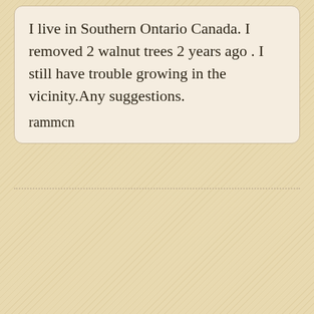I live in Southern Ontario Canada. I removed 2 walnut trees 2 years ago . I still have trouble growing in the vicinity.Any suggestions.
rammcn